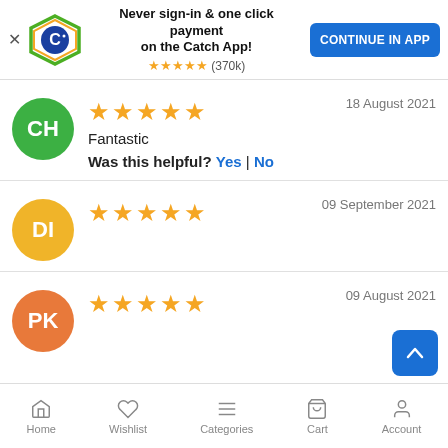[Figure (screenshot): Catch app promotional banner with logo, text 'Never sign-in & one click payment on the Catch App!', star rating (370k), and CONTINUE IN APP button]
18 August 2021 ★★★★★ Fantastic Was this helpful? Yes | No
09 September 2021 ★★★★★
09 August 2021 ★★★★★
Home  Wishlist  Categories  Cart  Account